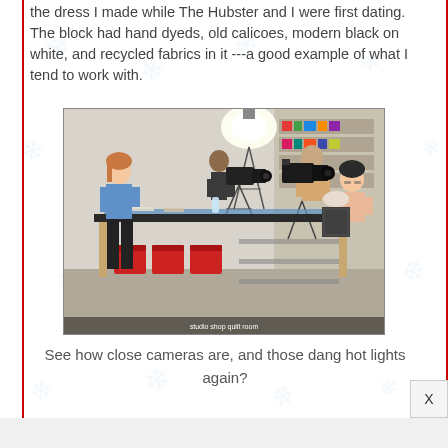the dress I made while The Hubster and I were first dating.  The block had hand dyeds, old calicoes, modern black on white, and recycled fabrics in it ---a good example of what I tend to work with.
[Figure (photo): A photo taken inside a craft/quilt shop showing people around a large work table. A woman in a blue top stands on the left near a sewing machine. Camera operators with professional video cameras and bright studio lights are visible in the background. A woman in a peach top sits on the right side of the table. Another person sits at the front of the table. Red storage bins are visible under the table.]
See how close cameras are, and those dang hot lights again?